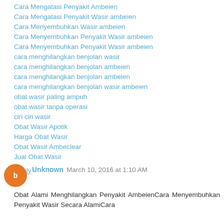Cara Mengatasi Penyakit Ambeien
Cara Mengatasi Penyakit Wasir ambeien
Cara Menyembuhkan Wasir ambeien
Cara Menyembuhkan Penyakit Wasir ambeien
Cara Menyembuhkan Penyakit Wasir ambeien
cara menghilangkan benjolan wasir
cara menghilangkan benjolan ambeien
cara menghilangkan benjolan ambeien
cara menghilangkan benjolan wasir ambeien
obat wasir paling ampuh
obat wasir tanpa operasi
ciri ciri wasir
Obat Wasir Apotik
Harga Obat Wasir
Obat Wasir Ambeclear
Jual Obat Wasir
Reply
Unknown  March 10, 2016 at 1:10 AM
Obat Alami Menghilangkan Penyakit AmbeienCara Menyembuhkan Penyakit Wasir Secara AlamiCara